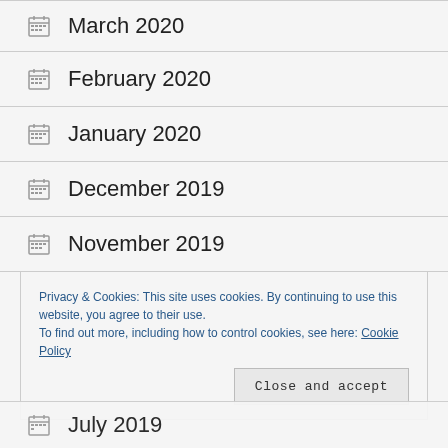March 2020
February 2020
January 2020
December 2019
November 2019
October 2019
Privacy & Cookies: This site uses cookies. By continuing to use this website, you agree to their use. To find out more, including how to control cookies, see here: Cookie Policy
July 2019